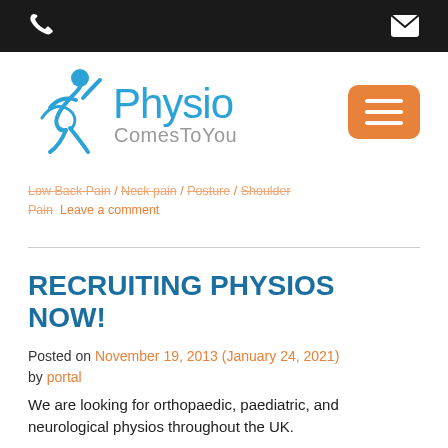Physio Comes To You — header bar with phone and email icons
[Figure (logo): Physio Comes To You logo with blue running figure icon and blue/gray text]
Low Back Pain / Neck pain / Posture / Shoulder Pain   Leave a comment
RECRUITING PHYSIOS NOW!
Posted on November 19, 2013 (January 24, 2021) by portal
We are looking for orthopaedic, paediatric, and neurological physios throughout the UK.